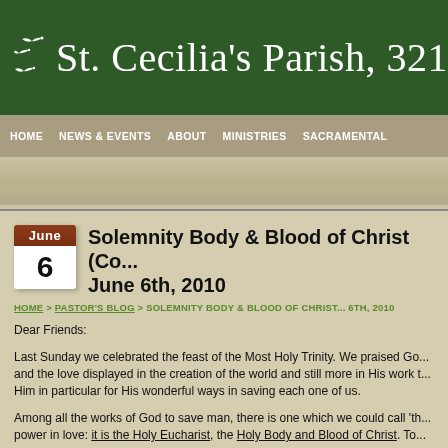St. Cecilia's Parish, 321 90
HOME | NEWS & EVENTS | ABOUT | MINISTRIES | SACRAMENTAL
Solemnity Body & Blood of Christ (Co... June 6th, 2010
HOME > PASTOR'S BLOG > SOLEMNITY BODY & BLOOD OF CHRIST ... 6TH, 2010
Dear Friends:
Last Sunday we celebrated the feast of the Most Holy Trinity. We praised Go... and the love displayed in the creation of the world and still more in His work t... Him in particular for His wonderful ways in saving each one of us.
Among all the works of God to save man, there is one which we could call 'th... power in love: it is the Holy Eucharist, the Holy Body and Blood of Christ. To... the Most Holy Body and Blood of Christ or the Corpus Christi: Christ willing...